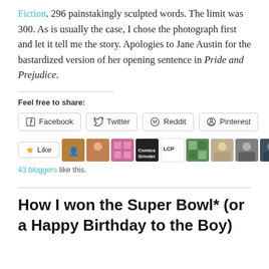Fiction. 296 painstakingly sculpted words. The limit was 300. As is usually the case, I chose the photograph first and let it tell me the story. Apologies to Jane Austin for the bastardized version of her opening sentence in Pride and Prejudice.
Feel free to share:
Facebook Twitter Reddit Pinterest
Like  43 bloggers like this.
How I won the Super Bowl* (or a Happy Birthday to the Boy)